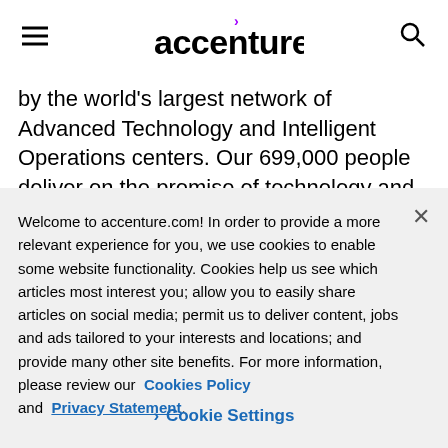accenture
by the world's largest network of Advanced Technology and Intelligent Operations centers. Our 699,000 people deliver on the promise of technology and human ingenuity every day, serving clients in more than 120
Welcome to accenture.com! In order to provide a more relevant experience for you, we use cookies to enable some website functionality. Cookies help us see which articles most interest you; allow you to easily share articles on social media; permit us to deliver content, jobs and ads tailored to your interests and locations; and provide many other site benefits. For more information, please review our Cookies Policy and Privacy Statement.
Cookie Settings